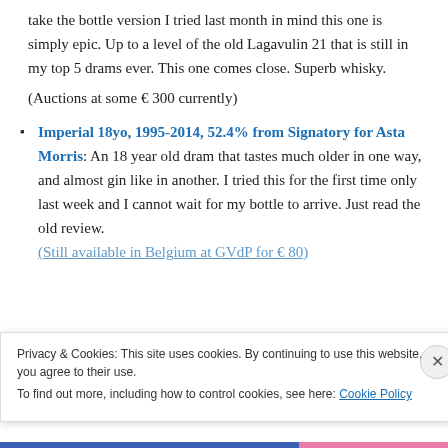take the bottle version I tried last month in mind this one is simply epic. Up to a level of the old Lagavulin 21 that is still in my top 5 drams ever. This one comes close. Superb whisky.
(Auctions at some € 300 currently)
Imperial 18yo, 1995-2014, 52.4% from Signatory for Asta Morris: An 18 year old dram that tastes much older in one way, and almost gin like in another. I tried this for the first time only last week and I cannot wait for my bottle to arrive. Just read the old review.
(Still available in Belgium at GVdP for € 80)
Privacy & Cookies: This site uses cookies. By continuing to use this website, you agree to their use.
To find out more, including how to control cookies, see here: Cookie Policy